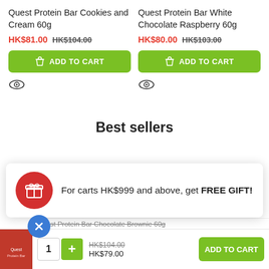Quest Protein Bar Cookies and Cream 60g
HK$81.00  HK$104.00
ADD TO CART
Quest Protein Bar White Chocolate Raspberry 60g
HK$80.00  HK$103.00
ADD TO CART
Best sellers
For carts HK$999 and above, get FREE GIFT!
Quest Protein Bar Chocolate Brownie 60g
HK$104.00
HK$79.00
ADD TO CART